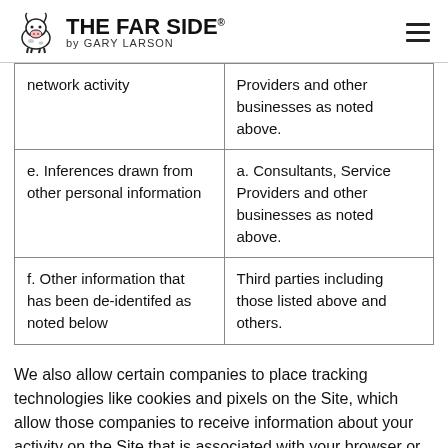THE FAR SIDE by GARY LARSON
| network activity | Providers and other businesses as noted above. |
| e. Inferences drawn from other personal information | a. Consultants, Service Providers and other businesses as noted above. |
| f. Other information that has been de-identifed as noted below | Third parties including those listed above and others. |
We also allow certain companies to place tracking technologies like cookies and pixels on the Site, which allow those companies to receive information about your activity on the Site that is associated with your browser or